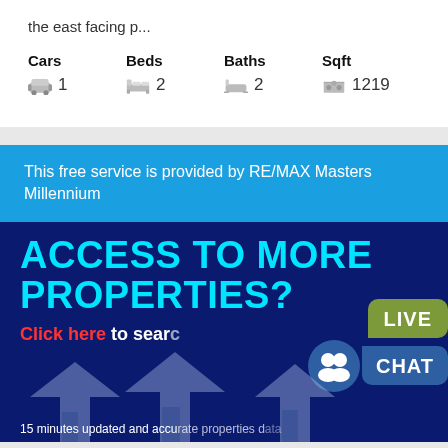the east facing p...
| Cars | Beds | Baths | Sqft |
| --- | --- | --- | --- |
| 1 | 2 | 2 | 1219 |
This free service is provided by RE/MAX Masters Millennium
[Figure (infographic): Dark blue advertisement banner with large cyan text ACCESS TO MORE PROPERTIES?, red and white text 'Click here to search', live chat bubble overlay, house silhouettes, and bottom text '15 minutes updated and accurate properties data']